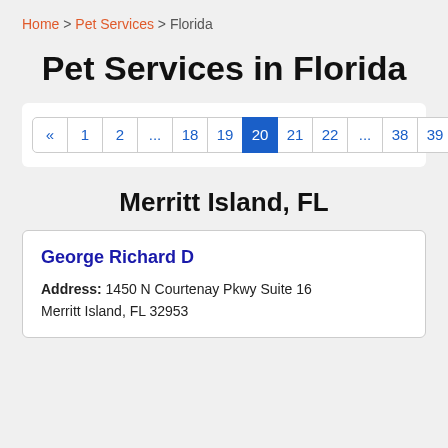Home > Pet Services > Florida
Pet Services in Florida
« 1 2 ... 18 19 20 21 22 ... 38 39 »
Merritt Island, FL
George Richard D
Address: 1450 N Courtenay Pkwy Suite 16 Merritt Island, FL 32953